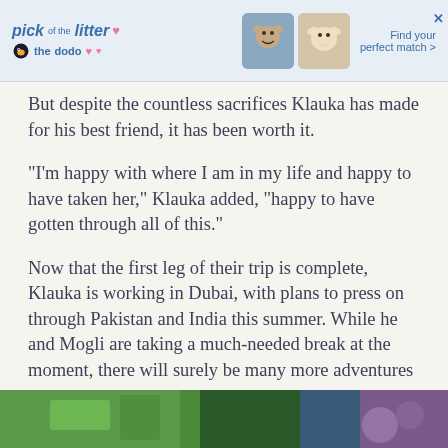[Figure (other): Advertisement banner for 'pick of the litter' by The Dodo with pet images and text 'Find your perfect match >']
But despite the countless sacrifices Klauka has made for his best friend, it has been worth it.
“I’m happy with where I am in my life and happy to have taken her,” Klauka added, “happy to have gotten through all of this.”
Now that the first leg of their trip is complete, Klauka is working in Dubai, with plans to press on through Pakistan and India this summer. While he and Mogli are taking a much-needed break at the moment, there will surely be many more adventures to come.
[Figure (photo): Partial photo strip at the bottom of the page showing green and purple outdoor scenery]